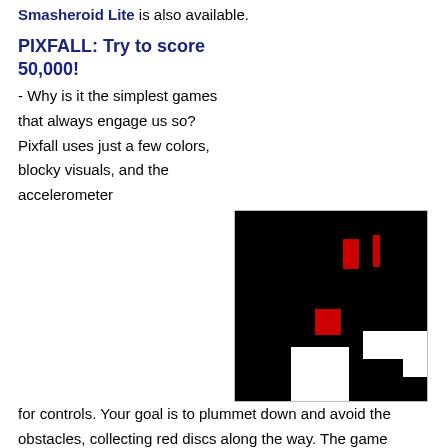Smasheroid Lite is also available.
PIXFALL: Try to score 50,000!
[Figure (screenshot): Screenshot of Pixfall game showing black background with white blocky platform shapes and red square collectibles]
- Why is it the simplest games that always engage us so? Pixfall uses just a few colors, blocky visuals, and the accelerometer for controls. Your goal is to plummet down and avoid the obstacles, collecting red discs along the way. The game pushes getting a high score, going so far as to taunt you on the iTunes Store page. No big frills, it's just you, your iPhone, and your own sense of determination.
NOTE: Games listed may not be available outside of North America. Prices are subject to change and are therefore unlisted. Please see the individual game pages for